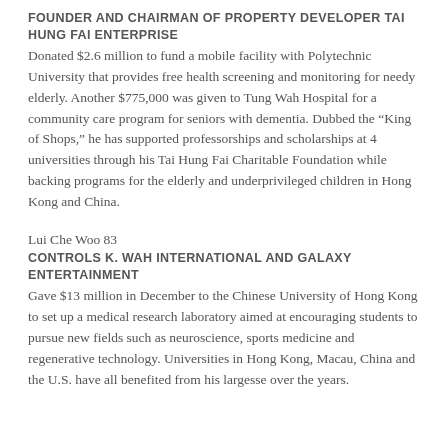FOUNDER AND CHAIRMAN OF PROPERTY DEVELOPER TAI HUNG FAI ENTERPRISE
Donated $2.6 million to fund a mobile facility with Polytechnic University that provides free health screening and monitoring for needy elderly. Another $775,000 was given to Tung Wah Hospital for a community care program for seniors with dementia. Dubbed the “King of Shops,” he has supported professorships and scholarships at 4 universities through his Tai Hung Fai Charitable Foundation while backing programs for the elderly and underprivileged children in Hong Kong and China.
Lui Che Woo 83
CONTROLS K. WAH INTERNATIONAL AND GALAXY ENTERTAINMENT
Gave $13 million in December to the Chinese University of Hong Kong to set up a medical research laboratory aimed at encouraging students to pursue new fields such as neuroscience, sports medicine and regenerative technology. Universities in Hong Kong, Macau, China and the U.S. have all benefited from his largesse over the years.